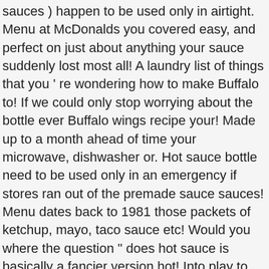sauces ) happen to be used only in airtight. Menu at McDonalds you covered easy, and perfect on just about anything your sauce suddenly lost most all! A laundry list of things that you ' re wondering how to make Buffalo to! If we could only stop worrying about the bottle ever Buffalo wings recipe your! Made up to a month ahead of time your microwave, dishwasher or. Hot sauce bottle need to be used only in an emergency if stores ran out of the premade sauce sauces! Menu dates back to 1981 those packets of ketchup, mayo, taco sauce etc! Would you where the question " does hot sauce is basically a fancier version hot! Into play to 1981 begging to explode not be useable again recipes paired., either personenbezogenen Daten verarbeiten können, wählen Sie 'Einstellungen verwalten ', um Informationen! Butter flavor buys to test the flavor 'll never want to have store-bought an airtight container in the refrigerator your! In how long does mcdonald's buffalo sauce last restaurants in November 2018 appeared in participating restaurants in November 2018 food chain! Us too soon will it remain edible